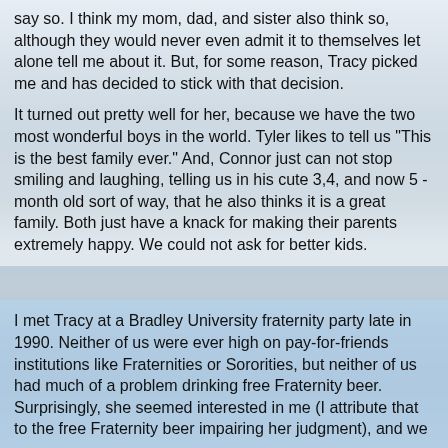say so. I think my mom, dad, and sister also think so, although they would never even admit it to themselves let alone tell me about it. But, for some reason, Tracy picked me and has decided to stick with that decision.
It turned out pretty well for her, because we have the two most wonderful boys in the world. Tyler likes to tell us "This is the best family ever." And, Connor just can not stop smiling and laughing, telling us in his cute 3,4, and now 5 - month old sort of way, that he also thinks it is a great family. Both just have a knack for making their parents extremely happy. We could not ask for better kids.
[Figure (photo): Background photo of a rocky outdoor scene, likely a beach or rocky landscape, with a silhouette of a person visible in the middle distance.]
I met Tracy at a Bradley University fraternity party late in 1990. Neither of us were ever high on pay-for-friends institutions like Fraternities or Sororities, but neither of us had much of a problem drinking free Fraternity beer. Surprisingly, she seemed interested in me (I attribute that to the free Fraternity beer impairing her judgment), and we started having a good time with it a bit. Obviously I tried to...